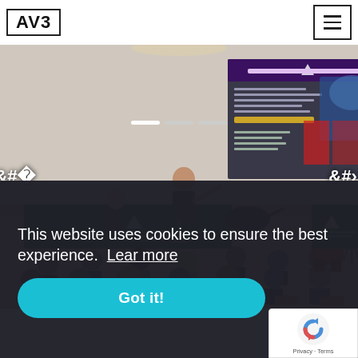AV3
[Figure (photo): A conference/lecture room scene. A presenter stands at a podium gesturing toward a large projected screen showing a presentation slide. An audience of students/attendees sits in rows of wooden auditorium chairs. Green tablecloths on the presentation tables. Navigation arrows on left and right sides of the image.]
This website uses cookies to ensure the best experience.  Lear more
Got it!